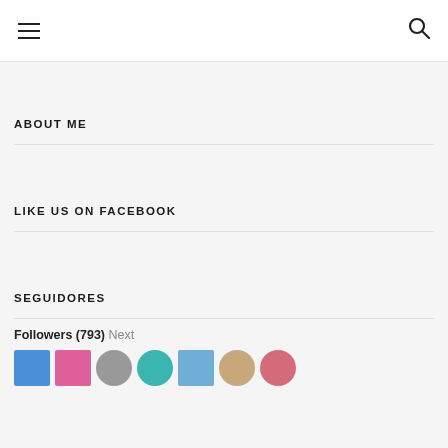≡  🔍
ABOUT ME
LIKE US ON FACEBOOK
SEGUIDORES
Followers (793) Next